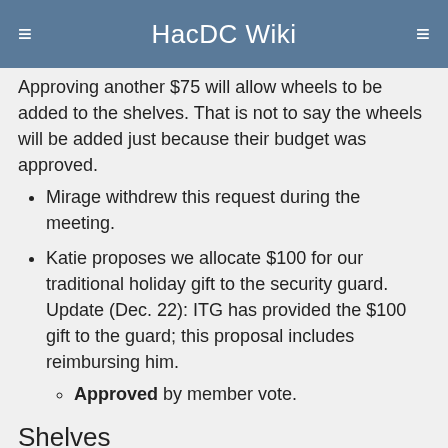HacDC Wiki
Approving another $75 will allow wheels to be added to the shelves. That is not to say the wheels will be added just because their budget was approved.
Mirage withdrew this request during the meeting.
Katie proposes we allocate $100 for our traditional holiday gift to the security guard. Update (Dec. 22): ITG has provided the $100 gift to the guard; this proposal includes reimbursing him.
Approved by member vote.
Shelves
$600 for shelves to mirage.
not sure why this is here